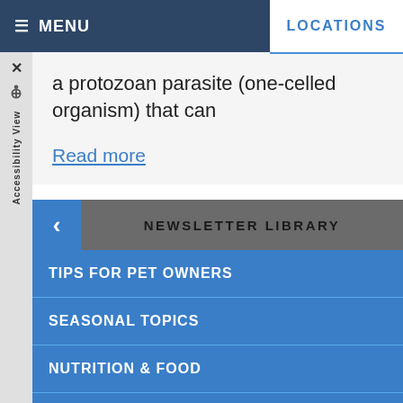MENU | LOCATIONS
a protozoan parasite (one-celled organism) that can
Read more
NEWSLETTER LIBRARY
TIPS FOR PET OWNERS
SEASONAL TOPICS
NUTRITION & FOOD
RECOGNIZING ILLNESS
VISITING THE VET
EQUINE